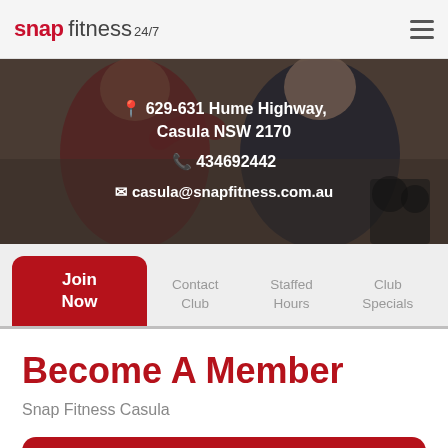snap fitness 24/7
[Figure (photo): Two people at a gym exercising, overlaid with contact information for Snap Fitness Casula]
629-631 Hume Highway, Casula NSW 2170
434692442
casula@snapfitness.com.au
Join Now
Contact Club
Staffed Hours
Club Specials
Become A Member
Snap Fitness Casula